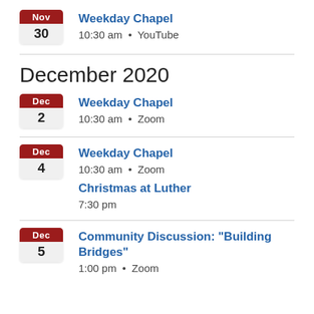Nov 30 — Weekday Chapel, 10:30 am • YouTube
December 2020
Dec 2 — Weekday Chapel, 10:30 am • Zoom
Dec 4 — Weekday Chapel, 10:30 am • Zoom; Christmas at Luther, 7:30 pm
Dec 5 — Community Discussion: "Building Bridges", 1:00 pm • Zoom